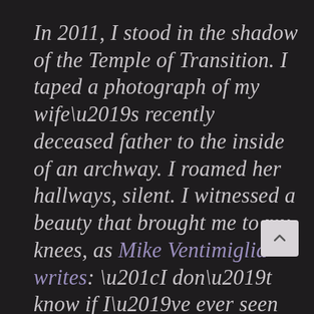In 2011, I stood in the shadow of the Temple of Transition. I taped a photograph of my wife's recently deceased father to the inside of an archway. I roamed her hallways, silent. I witnessed a beauty that brought me to my knees, as Mike Ventimiglia writes: “I don’t know if I’ve ever seen Beauty itself out there, the essence of Beauty that Plato thought was the source of all